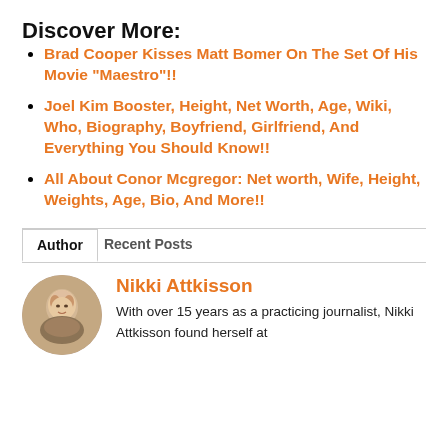Discover More:
Brad Cooper Kisses Matt Bomer On The Set Of His Movie “Maestro”!!
Joel Kim Booster, Height, Net Worth, Age, Wiki, Who, Biography, Boyfriend, Girlfriend, And Everything You Should Know!!
All About Conor Mcgregor: Net worth, Wife, Height, Weights, Age, Bio, And More!!
Author	Recent Posts
Nikki Attkisson
With over 15 years as a practicing journalist, Nikki Attkisson found herself at